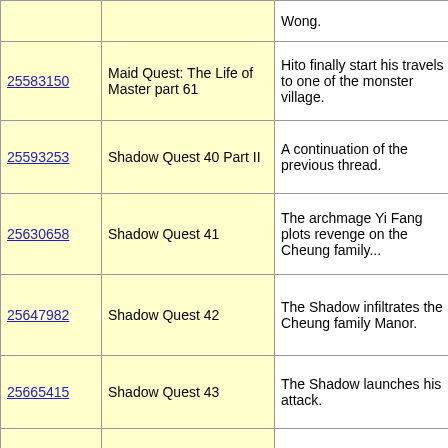| Thread ID | Title | Description | Tags |
| --- | --- | --- | --- |
| 25583150 | Maid Quest: The Life of Master part 61 | Hito finally start his travels to one of the monster village. | Maid Quest: The Li... Collective Game, C... |
| 25593253 | Shadow Quest 40 Part II | A continuation of the previous thread. | Collective Game, sh... shadow quest, shad... |
| 25630658 | Shadow Quest 41 | The archmage Yi Fang plots revenge on the Cheung family... | Collective Game, sh... shadow quest, shad... |
| 25647982 | Shadow Quest 42 | The Shadow infiltrates the Cheung family Manor. | Collective Game, sh... shadow quest, shad... |
| 25665415 | Shadow Quest 43 | The Shadow launches his attack. | Collective Game, sh... shadow quest, shad... |
| 25696036 | Shadow Quest 44 | Shadow continues a battle against a shadowy foe. | Collective Game, sh... shadow quest, shad... |
| 25701106 | Shadow Quest 44 Part II | The shadow arrives back at camp. | Collective Game, sh... shadow quest, shad... |
| 25742811 | Shadow Quest 45 | The Shadow and the refugees meet the neighbors. | Collective Game, sh... shadow quest, shad... |
| 25847338 | Shadow Quest 46 | The shadow returns to | Collective Game, sh... |